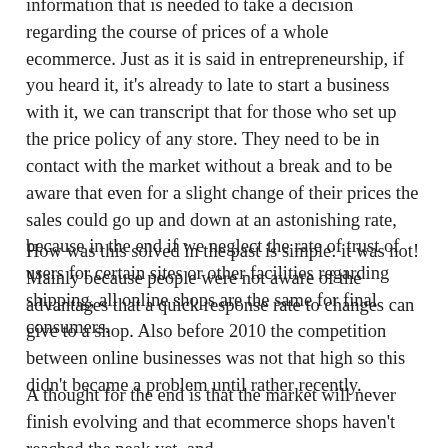information that is needed to take a decision regarding the course of prices of a whole ecommerce. Just as it is said in entrepreneurship, if you heard it, it's already to late to start a business with it, we can transcript that for those who set up the price policy of any store. They need to be in contact with the market without a break and to be aware that even for a slight change of their prices the sales could go up and down at an astonishing rate, because in the end if we neglect the rate of trust of users for certain sites or other facilities regarding shipping, all online shops are the same for final consumers.
How was this solved in the past is simple: it was not! Mainly because people were not aware of the advantages that a quick response rate to changes can give to a shop. Also before 2010 the competition between online businesses was not that high so this didn't became a problem until rather recently.
A thought for the end is that the market will never finish evolving and that ecommerce shops haven't reached the peak yet, and